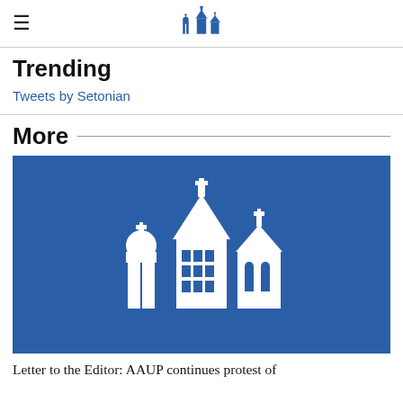Setonian logo header with hamburger menu
Trending
Tweets by Setonian
More
[Figure (logo): White church/cathedral building logo on blue background — Seton Hall University emblem]
Letter to the Editor: AAUP continues protest of